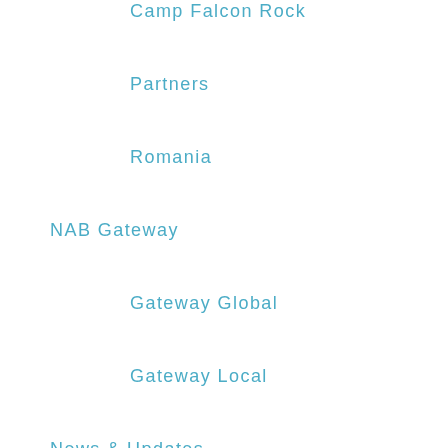Camp Falcon Rock
Partners
Romania
NAB Gateway
Gateway Global
Gateway Local
News & Updates
NorCal Association of Churches
Racial Righteousness
Seminary
Spiritual Formation